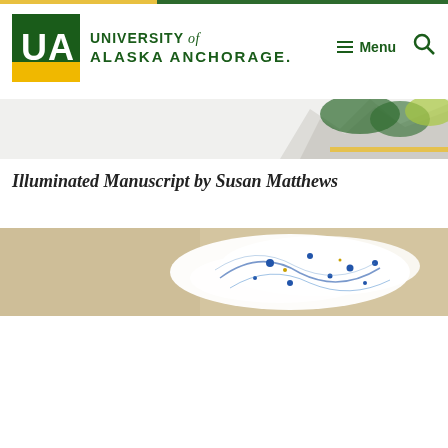[Figure (logo): University of Alaska Anchorage logo with UAA initials in green box with gold bar, and university name in green text]
Illuminated Manuscript by Susan Matthews
[Figure (photo): Close-up photo of an illuminated manuscript page showing white and blue decorative text or artwork on a beige/parchment background]